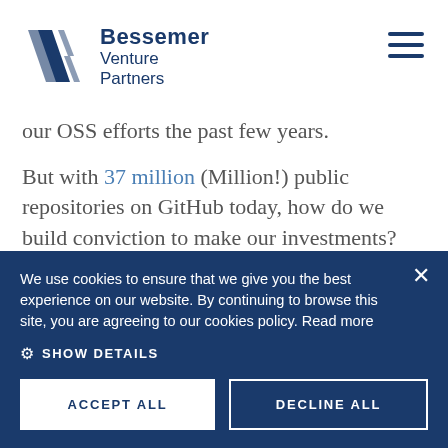[Figure (logo): Bessemer Venture Partners logo with stylized double-slash icon in dark navy blue, alongside text 'Bessemer Venture Partners']
our OSS efforts the past few years.
But with 37 million (Million!) public repositories on GitHub today, how do we build conviction to make our investments?
We use cookies to ensure that we give you the best experience on our website. By continuing to browse this site, you are agreeing to our cookies policy. Read more
SHOW DETAILS
ACCEPT ALL
DECLINE ALL